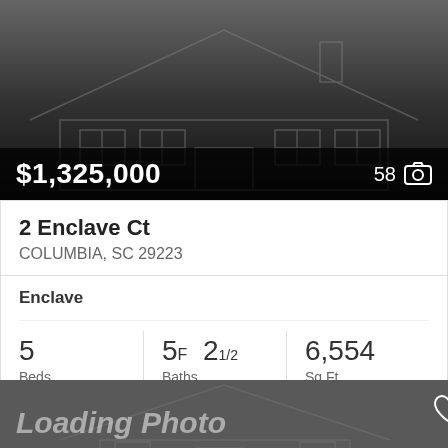[Figure (photo): Dark real estate listing photo placeholder showing faint house sketch outline against dark background, with price $1,325,000 and photo count 58 overlaid at bottom]
$1,325,000
58 📷
2 Enclave Ct
COLUMBIA, SC 29223
Enclave
5 Beds
5F 2 1/2 Baths
6,554 Sq.Ft.
Coldwell Banker Realty
[Figure (photo): Dark gray real estate listing photo placeholder with faint house sketch outline, showing 'Loading Photo' text and a heart/favorite icon in top right corner]